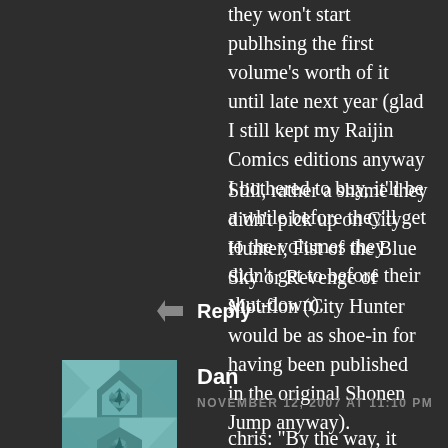they won't start publhsing the first volume's worth of it until late next year (glad I still kept my Raijin Comics editions anyway I bothered to buy, it'll be a while before they'll get to the volumes they didn't get to before their shut-down).
Still, rather a shame they didn't pick up on City Hunter, Fist of the Blue Sky or Revenge of Mouflon (City Hunter would be as shoe-in for having been published in the original Shonen Jump anyway).
Reply
Dan
NOVEMBER 12, 2007 AT 11:10 PM
chris: "By the way, it looks as if Viz made that